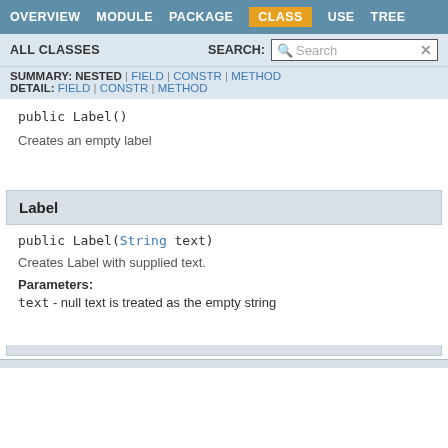OVERVIEW  MODULE  PACKAGE  CLASS  USE  TREE
ALL CLASSES   SEARCH:
SUMMARY: NESTED | FIELD | CONSTR | METHOD
DETAIL: FIELD | CONSTR | METHOD
Creates an empty label
Label
Creates Label with supplied text.
Parameters:
text - null text is treated as the empty string